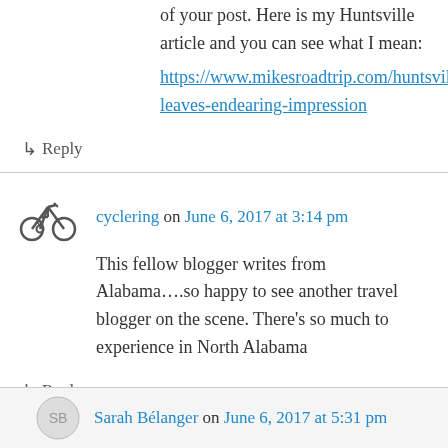of your post. Here is my Huntsville article and you can see what I mean:
https://www.mikesroadtrip.com/huntsville-leaves-endearing-impression
↳ Reply
cyclering on June 6, 2017 at 3:14 pm
This fellow blogger writes from Alabama….so happy to see another travel blogger on the scene. There's so much to experience in North Alabama
↳ Reply
Sarah Bélanger on June 6, 2017 at 5:31 pm